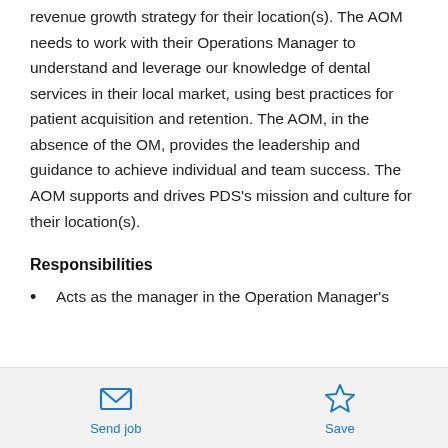revenue growth strategy for their location(s). The AOM needs to work with their Operations Manager to understand and leverage our knowledge of dental services in their local market, using best practices for patient acquisition and retention. The AOM, in the absence of the OM, provides the leadership and guidance to achieve individual and team success. The AOM supports and drives PDS's mission and culture for their location(s).
Responsibilities
Acts as the manager in the Operation Manager's
Send job  Save